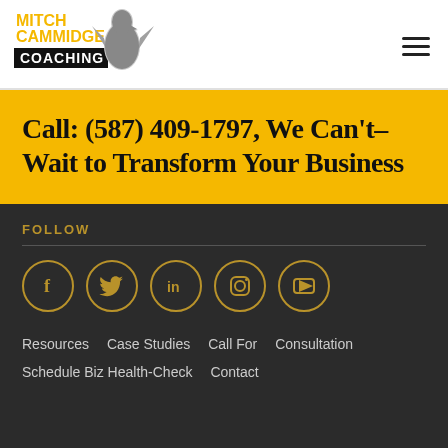Mitch Cammidge Coaching
Call: (587) 409-1797, We Can't–Wait to Transform Your Business
FOLLOW
[Figure (infographic): Five social media icons in circles: Facebook (f), Twitter (bird), LinkedIn (in), Instagram (camera), YouTube (play button), outlined in gold on dark background]
Resources   Case Studies   Call For Consultation   Schedule Biz Health-Check   Contact